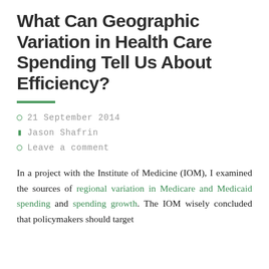What Can Geographic Variation in Health Care Spending Tell Us About Efficiency?
21 September 2014
Jason Shafrin
Leave a comment
In a project with the Institute of Medicine (IOM), I examined the sources of regional variation in Medicare and Medicaid spending and spending growth. The IOM wisely concluded that policymakers should target